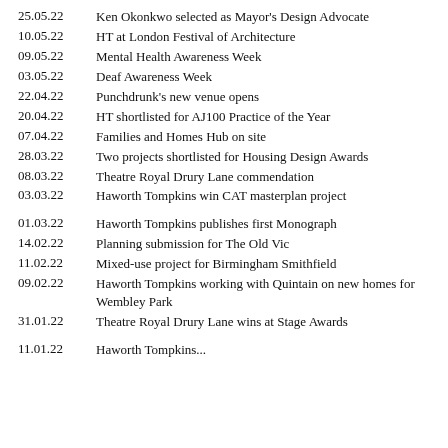25.05.22 — Ken Okonkwo selected as Mayor's Design Advocate
10.05.22 — HT at London Festival of Architecture
09.05.22 — Mental Health Awareness Week
03.05.22 — Deaf Awareness Week
22.04.22 — Punchdrunk's new venue opens
20.04.22 — HT shortlisted for AJ100 Practice of the Year
07.04.22 — Families and Homes Hub on site
28.03.22 — Two projects shortlisted for Housing Design Awards
08.03.22 — Theatre Royal Drury Lane commendation
03.03.22 — Haworth Tompkins win CAT masterplan project
01.03.22 — Haworth Tompkins publishes first Monograph
14.02.22 — Planning submission for The Old Vic
11.02.22 — Mixed-use project for Birmingham Smithfield
09.02.22 — Haworth Tompkins working with Quintain on new homes for Wembley Park
31.01.22 — Theatre Royal Drury Lane wins at Stage Awards
11.01.22 — Haworth Tompkins...